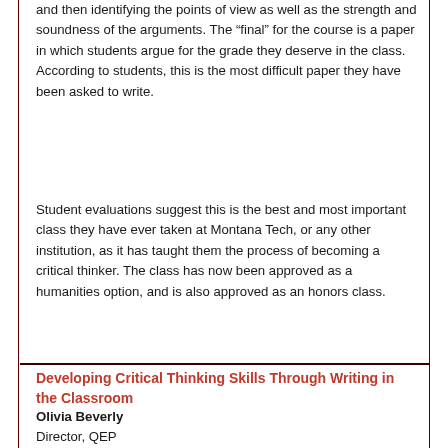and then identifying the points of view as well as the strength and soundness of the arguments. The “final” for the course is a paper in which students argue for the grade they deserve in the class. According to students, this is the most difficult paper they have been asked to write.
Student evaluations suggest this is the best and most important class they have ever taken at Montana Tech, or any other institution, as it has taught them the process of becoming a critical thinker. The class has now been approved as a humanities option, and is also approved as an honors class.
Developing Critical Thinking Skills Through Writing in the Classroom
Olivia Beverly
Director, QEP
Coordinator, Faculty Development
Oakwood University
Eva Starner